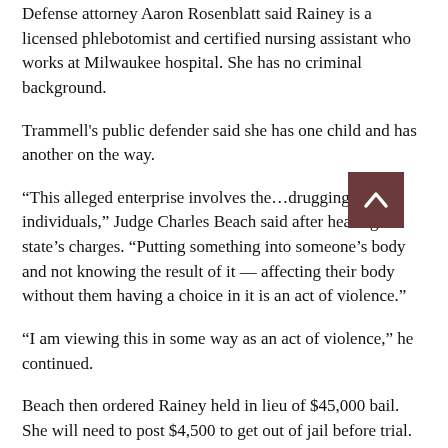Defense attorney Aaron Rosenblatt said Rainey is a licensed phlebotomist and certified nursing assistant who works at Milwaukee hospital. She has no criminal background.
Trammell's public defender said she has one child and has another on the way.
“This alleged enterprise involves the…drugging of individuals,” Judge Charles Beach said after hearing the state’s charges. “Putting something into someone’s body and not knowing the result of it — affecting their body without them having a choice in it is an act of violence.”
“I am viewing this in some way as an act of violence,” he continued.
Beach then ordered Rainey held in lieu of $45,000 bail. She will need to post $4,500 to get out of jail before trial.
Noting Trammell has an outstanding warrant in Tennessee and lives in Wisconsin, Beach said, “flight is a real possibility” in